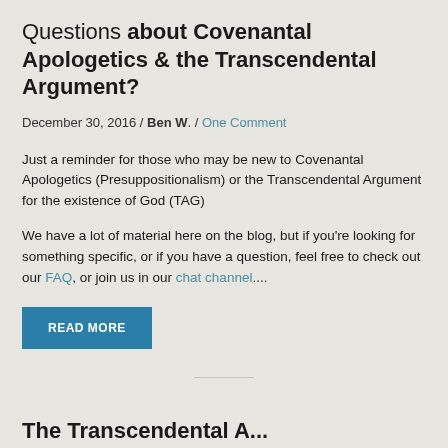Questions about Covenantal Apologetics & the Transcendental Argument?
December 30, 2016 / Ben W. / One Comment
Just a reminder for those who may be new to Covenantal Apologetics (Presuppositionalism) or the Transcendental Argument for the existence of God (TAG)
We have a lot of material here on the blog, but if you're looking for something specific, or if you have a question, feel free to check out our FAQ, or join us in our chat channel....
READ MORE
The Transcendental A...